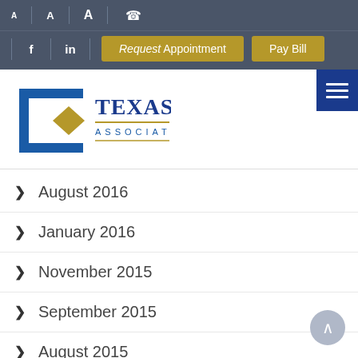[Figure (screenshot): Texas Retina Associates website header with navigation bar showing font size controls, phone icon, Facebook and LinkedIn social links, Request Appointment and Pay Bill buttons, logo with blue C icon and gold diamond, and hamburger menu button]
August 2016
January 2016
November 2015
September 2015
August 2015
July 2015
February 2015